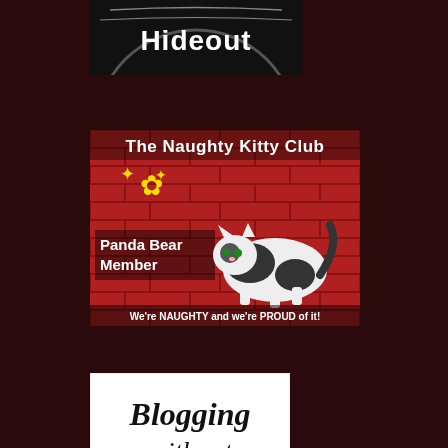[Figure (logo): Partial view of a dark circular logo with text 'Hideout' on black background]
[Figure (photo): The Naughty Kitty Club badge - red brick wall background with a black and white cat, text reads 'The Naughty Kitty Club', 'Panda Bear Member', 'We're NAUGHTY and we're PROUD of it!']
[Figure (logo): Blogging without Obligation badge - white background with cursive text 'Blogging without Obligation Est. 2007' and a small tree illustration]
Random Picture
Bambino Films